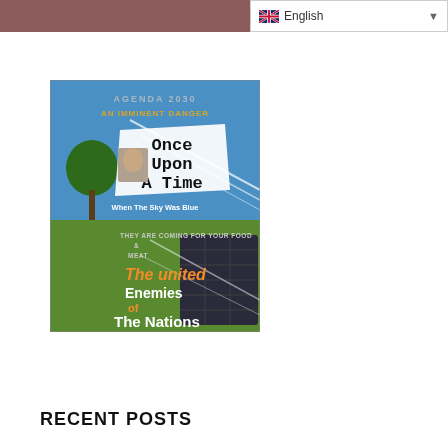English
[Figure (illustration): Book cover collage showing multiple book titles: 'Agenda 2030 An Imminent Danger', 'Once Upon A Time When The Sky Was Blue', 'They Are Coming For Your Food & Meat', 'The United Enemies of The Nations' by Ella Cruz. The cover features a split image with a blue sky with chemtrails on top half and green grass with a solar panel on bottom half, plus a tree silhouette.]
RECENT POSTS